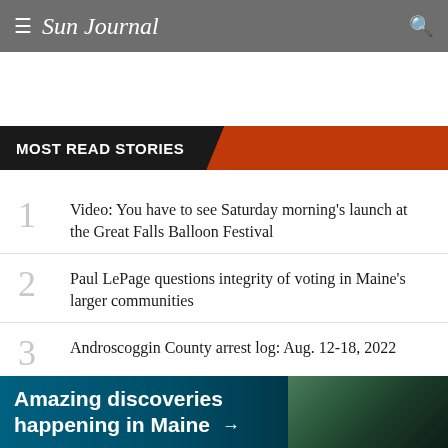≡ Sun Journal 🔍
MOST READ STORIES
1 Video: You have to see Saturday morning's launch at the Great Falls Balloon Festival
2 Paul LePage questions integrity of voting in Maine's larger communities
3 Androscoggin County arrest log: Aug. 12-18, 2022
4 Video: Watch Friday evening's balloon launch
[Figure (screenshot): Advertisement banner: Amazing discoveries happening in Maine, with nature background photo]